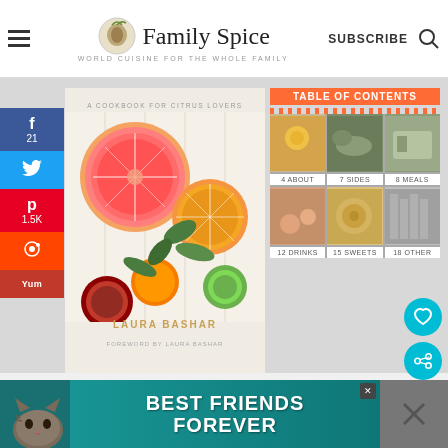Family Spice — WORLD CUISINE FOR THE WHOLE FAMILY | SUBSCRIBE
[Figure (screenshot): Website screenshot of Family Spice food blog showing a citrus cookbook cover and table of contents panel with food photos]
A COOKBOOK FOR CITRUS LOVERS
LAURA BASHAR
TABLE OF CONTENTS
4 ABOUT
7 SIDES
8 MEALS
12 DRINKS
15 SWEETS
18 OTHER
1.5K SHARES
If you are enjoying my recipes, I would love
WHAT'S NEXT → Chicken Teriyaki...
5
[Figure (photo): Advertisement banner: BEST FRIENDS FOREVER with cat image on teal background]